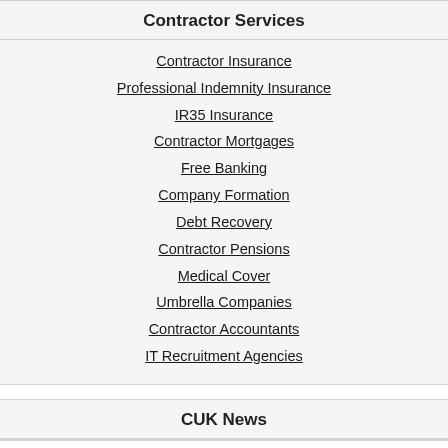Contractor Services
Contractor Insurance
Professional Indemnity Insurance
IR35 Insurance
Contractor Mortgages
Free Banking
Company Formation
Debt Recovery
Contractor Pensions
Medical Cover
Umbrella Companies
Contractor Accountants
IT Recruitment Agencies
CUK News
HMRC's maximum MTD VAT penalty 'won't apply to contractors'
Today 08:44
How to write a job advert for IT contractors
Today 08:28